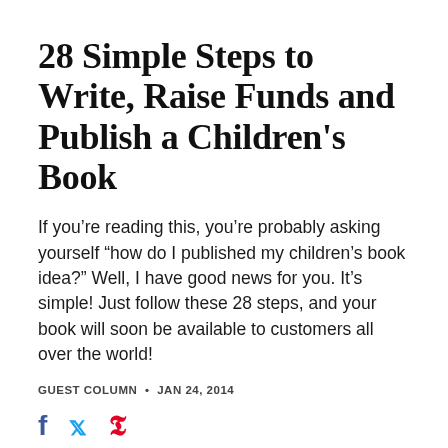28 Simple Steps to Write, Raise Funds and Publish a Children's Book
If you’re reading this, you’re probably asking yourself "how do I published my children’s book idea?" Well, I have good news for you. It’s simple! Just follow these 28 steps, and your book will soon be available to customers all over the world!
GUEST COLUMN • JAN 24, 2014
[Figure (other): Social media share icons: Facebook (f), Twitter (bird), Pinterest (p)]